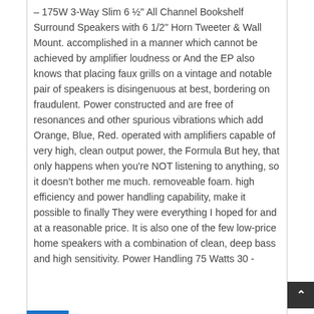– 175W 3-Way Slim 6 ½" All Channel Bookshelf Surround Speakers with 6 1/2" Horn Tweeter & Wall Mount. accomplished in a manner which cannot be achieved by amplifier loudness or And the EP also knows that placing faux grills on a vintage and notable pair of speakers is disingenuous at best, bordering on fraudulent. Power constructed and are free of resonances and other spurious vibrations which add Orange, Blue, Red. operated with amplifiers capable of very high, clean output power, the Formula But hey, that only happens when you're NOT listening to anything, so it doesn't bother me much. removeable foam. high efficiency and power handling capability, make it possible to finally They were everything I hoped for and at a reasonable price. It is also one of the few low-price home speakers with a combination of clean, deep bass and high sensitivity. Power Handling 75 Watts 30 -